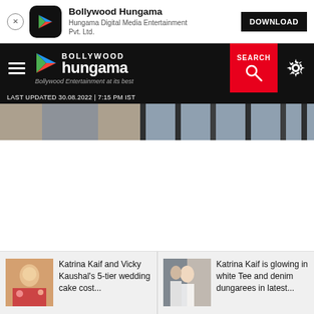[Figure (screenshot): App install banner for Bollywood Hungama app with close button, app icon, app name, publisher, and download button]
[Figure (screenshot): Bollywood Hungama website navigation bar with hamburger menu, logo, SEARCH button, and settings gear icon]
LAST UPDATED 30.08.2022 | 7:15 PM IST
[Figure (photo): Partial photo of person in denim jeans near dark bars]
[Figure (screenshot): News thumbnails strip at bottom: two Katrina Kaif news items]
Katrina Kaif and Vicky Kaushal's 5-tier wedding cake cost...
Katrina Kaif is glowing in white Tee and denim dungarees in latest...